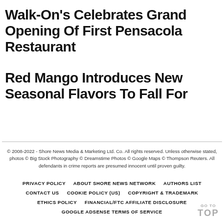Walk-On's Celebrates Grand Opening Of First Pensacola Restaurant
Red Mango Introduces New Seasonal Flavors To Fall For
© 2008-2022 - Shore News Media & Marketing Ltd. Co. All rights reserved. Unless otherwise stated, photos © Big Stock Photography © Dreamstime Photos © Google Maps © Thompson Reuters. All defendants in crime reports are presumed innocent until proven guilty.
PRIVACY POLICY    ABOUT SHORE NEWS NETWORK    AUTHORS LIST    CONTACT US    COOKIE POLICY (US)    COPYRIGHT & TRADEMARK    ETHICS POLICY    FINANCIAL/FTC AFFILIATE DISCLOSURE    GOOGLE ADSENSE TERMS OF SERVICE
GO TO TOP